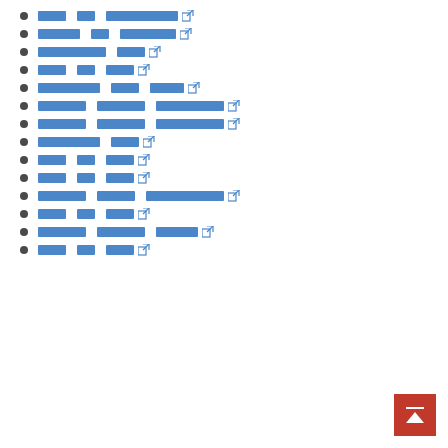[link item 1 with external link icon]
[link item 2 with external link icon]
[link item 3 with external link icon]
[link item 4 with external link icon]
[link item 5 with external link icon]
[link item 6 with external link icon]
[link item 7 with external link icon]
[link item 8 with external link icon]
[link item 9 with external link icon]
[link item 10 with external link icon]
[link item 11 with external link icon]
[link item 12 with external link icon]
[link item 13 with external link icon]
[link item 14 with external link icon]